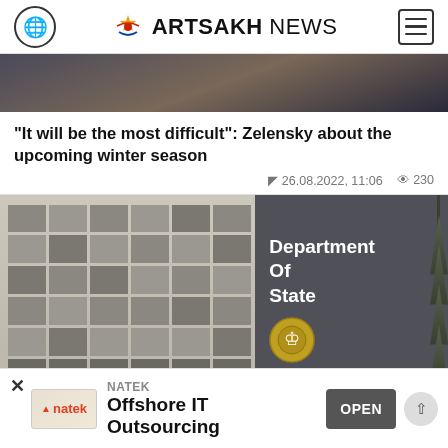ARTSAKH NEWS
[Figure (photo): Partial photo of a person in dark clothing, cropped at top]
"It will be the most difficult": Zelensky about the upcoming winter season
26.08.2022, 11:06  230
[Figure (photo): Photo of the US Department of State building exterior with sign reading Department Of State and seal]
NATEK Offshore IT Outsourcing OPEN